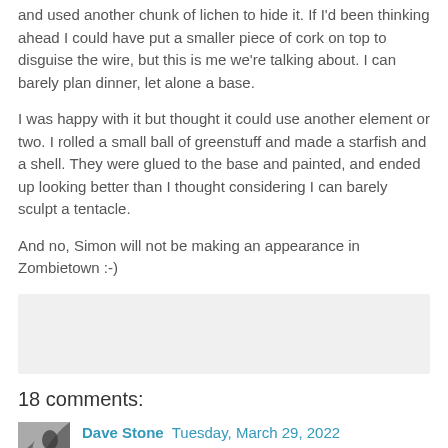and used another chunk of lichen to hide it. If I'd been thinking ahead I could have put a smaller piece of cork on top to disguise the wire, but this is me we're talking about. I can barely plan dinner, let alone a base.
I was happy with it but thought it could use another element or two. I rolled a small ball of greenstuff and made a starfish and a shell. They were glued to the base and painted, and ended up looking better than I thought considering I can barely sculpt a tentacle.
And no, Simon will not be making an appearance in Zombietown :-)
[Figure (photo): A gray/light rectangular image area, appears to be a photo placeholder or image of the miniature base]
18 comments:
Dave Stone  Tuesday, March 29, 2022
I think the base has turned out really well Matt, and looks